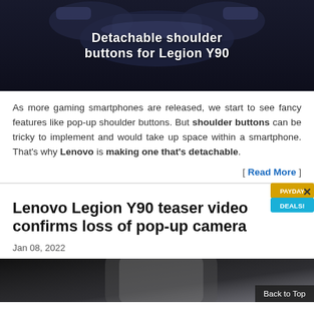[Figure (photo): Dark blue/black background with gaming controller shoulder button accessory for Lenovo Legion Y90, with white bold text overlay reading 'Detachable shoulder buttons for Legion Y90']
As more gaming smartphones are released, we start to see fancy features like pop-up shoulder buttons. But shoulder buttons can be tricky to implement and would take up space within a smartphone. That's why Lenovo is making one that's detachable.
[ Read More ]
Lenovo Legion Y90 teaser video confirms loss of pop-up camera
Jan 08, 2022
[Figure (photo): Partial bottom image showing a smartphone device in a dark/grey setting]
Back to Top